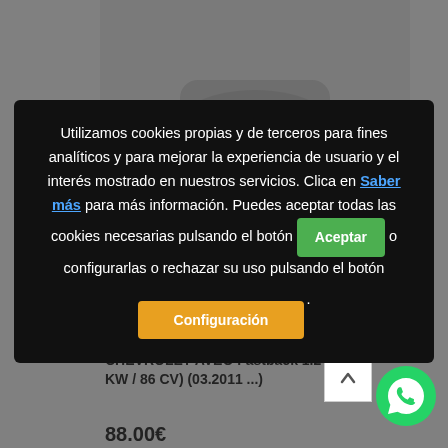[Figure (photo): Gray background with partial view of a car headlight product]
FARO DELANTERO DERECHO CHEVROLET AVEO Fastback 1.2 (63 KW / 86 CV) (03.2011 ...)
88.00€
Utilizamos cookies propias y de terceros para fines analíticos y para mejorar la experiencia de usuario y el interés mostrado en nuestros servicios. Clica en Saber más para más información. Puedes aceptar todas las cookies necesarias pulsando el botón Aceptar o configurarlas o rechazar su uso pulsando el botón Configuración.